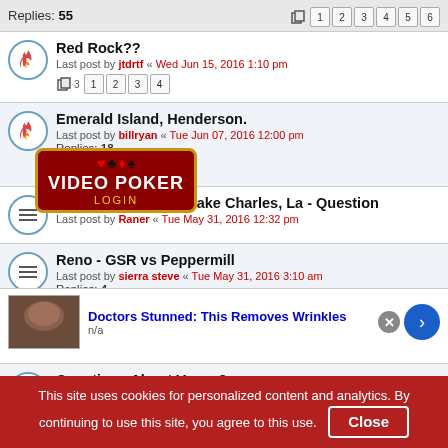Replies: 55
Red Rock??
Last post by jtdrtf « Wed Jun 15, 2016 1:10 pm
[Figure (illustration): Video Poker logo/badge overlay with card suits]
Emerald Island, Henderson.
Last post by billryan « Tue Jun 07, 2016 12:00 pm
Replies: 18
DDB Video Poker - Lake Charles, La - Question
Last post by Raner « Tue May 31, 2016 12:32 pm
Reno - GSR vs Peppermill
Last post by sierra steve « Tue May 31, 2016 3:10 am
Replies: 4
Harrahs New Orleans
Last post by bats21 « Mon May 30, 2016 9:43 am
Replies: 2
Questions About Vegas?
Doctors Stunned: This Removes Wrinkles
n/a
This site uses cookies for personalized content and analytics. By continuing to use this site, you agree to this use. Close